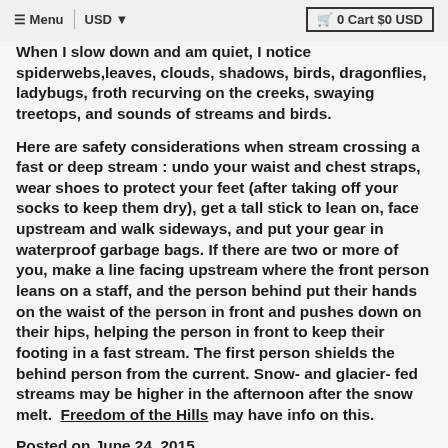≡ Menu | USD ▾  🛒 0 Cart $0 USD
When I slow down and am quiet, I notice spiderwebs, leaves, clouds, shadows, birds, dragonflies, ladybugs, froth recurving on the creeks, swaying treetops, and sounds of streams and birds.
Here are safety considerations when stream crossing a fast or deep stream : undo your waist and chest straps, wear shoes to protect your feet (after taking off your socks to keep them dry), get a tall stick to lean on, face upstream and walk sideways, and put your gear in waterproof garbage bags. If there are two or more of you, make a line facing upstream where the front person leans on a staff, and the person behind put their hands on the waist of the person in front and pushes down on their hips, helping the person in front to keep their footing in a fast stream. The first person shields the behind person from the current. Snow- and glacier- fed streams may be higher in the afternoon after the snow melt.  Freedom of the Hills may have info on this.
Posted on June 24, 2015